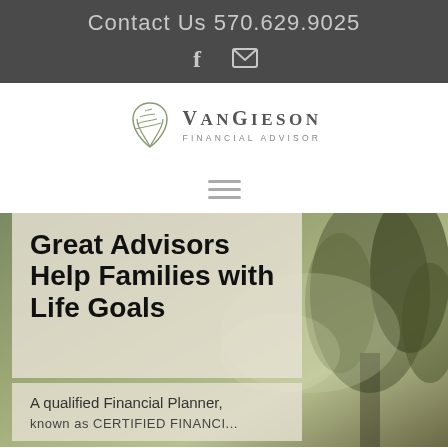Contact Us 570.629.9025
[Figure (logo): VanGieson Financial Advisor logo with leaf icon]
[Figure (other): Hamburger navigation menu icon (three horizontal lines)]
Great Advisors Help Families with Life Goals
A qualified Financial Planner, known as CERTIFIED FINANCI...